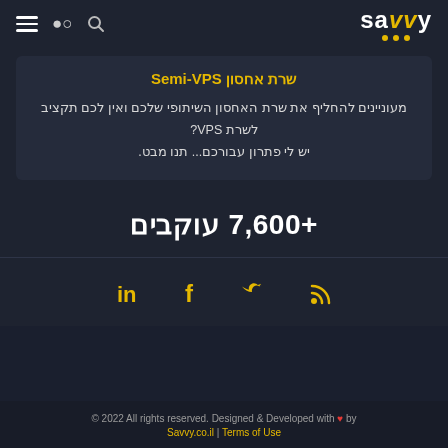Savvy - navigation header with hamburger menu, search icon, and Savvy logo
שרת אחסון Semi-VPS
מעוניינים להחליף את שרת האחסון השיתופי שלכם ואין לכם תקציב לשרת VPS? יש לי פתרון עבורכם... תנו מבט.
+7,600 עוקבים
[Figure (infographic): Social media icons: LinkedIn (in), Facebook (f), Twitter bird, RSS feed symbol, all in gold/yellow color]
© 2022 All rights reserved. Designed & Developed with ♥ by Savvy.co.il | Terms of Use